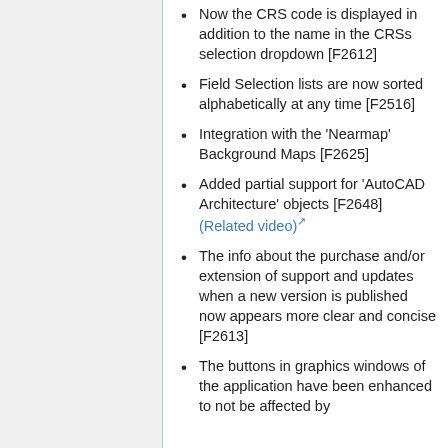Now the CRS code is displayed in addition to the name in the CRSs selection dropdown [F2612]
Field Selection lists are now sorted alphabetically at any time [F2516]
Integration with the 'Nearmap' Background Maps [F2625]
Added partial support for 'AutoCAD Architecture' objects [F2648] (Related video)
The info about the purchase and/or extension of support and updates when a new version is published now appears more clear and concise [F2613]
The buttons in graphics windows of the application have been enhanced to not be affected by